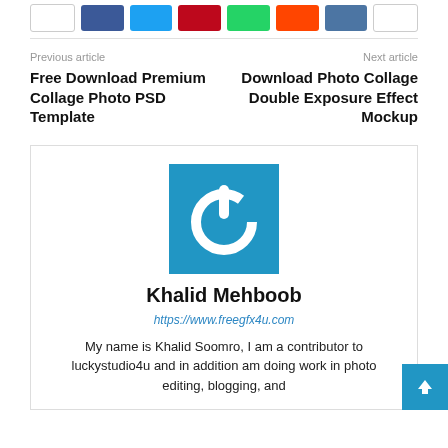[Figure (other): Row of social share buttons: white, Facebook blue, Twitter cyan, Pinterest red, WhatsApp green, Reddit orange, VK blue, white]
Previous article
Free Download Premium Collage Photo PSD Template
Next article
Download Photo Collage Double Exposure Effect Mockup
[Figure (logo): Blue square with white power button icon — freegfx4u logo for Khalid Mehboob]
Khalid Mehboob
https://www.freegfx4u.com
My name is Khalid Soomro, I am a contributor to luckystudio4u and in addition am doing work in photo editing, blogging, and